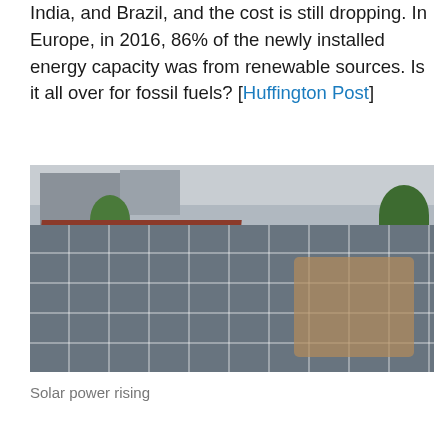India, and Brazil, and the cost is still dropping. In Europe, in 2016, 86% of the newly installed energy capacity was from renewable sources. Is it all over for fossil fuels? [Huffington Post]
[Figure (photo): People standing on a rooftop looking at solar panels installed on a building. The scene appears to be in an urban area with other buildings and trees visible in the background.]
Solar power rising